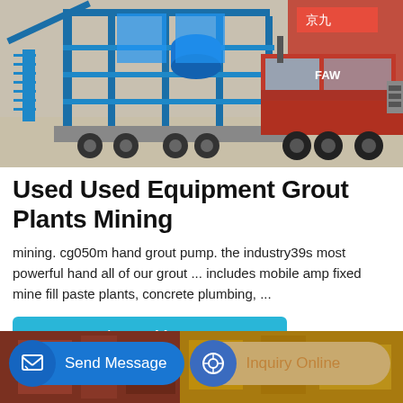[Figure (photo): A blue industrial mobile concrete batching/grout plant mounted on a trailer, with a large red FAW truck cab on the right, parked on a concrete yard with Chinese signage in the background.]
Used Used Equipment Grout Plants Mining
mining. cg050m hand grout pump. the industry39s most powerful hand all of our grout ... includes mobile amp fixed mine fill paste plants, concrete plumbing, ...
[Figure (photo): Partial view of industrial equipment, possibly machinery interior with red and golden/orange colored metal components.]